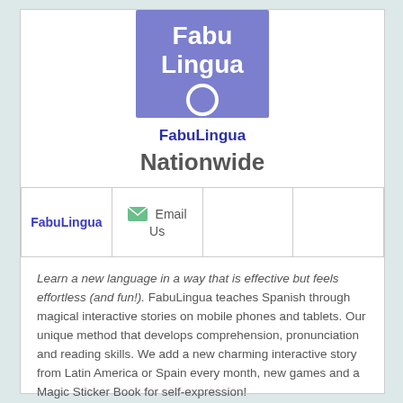[Figure (logo): FabuLingua logo: purple/periwinkle square with white text 'FabuLingua' and a white circle outline]
FabuLingua
Nationwide
| FabuLingua | Email Us |  |  |
| --- | --- | --- | --- |
Learn a new language in a way that is effective but feels effortless (and fun!). FabuLingua teaches Spanish through magical interactive stories on mobile phones and tablets. Our unique method that develops comprehension, pronunciation and reading skills. We add a new charming interactive story from Latin America or Spain every month, new games and a Magic Sticker Book for self-expression!